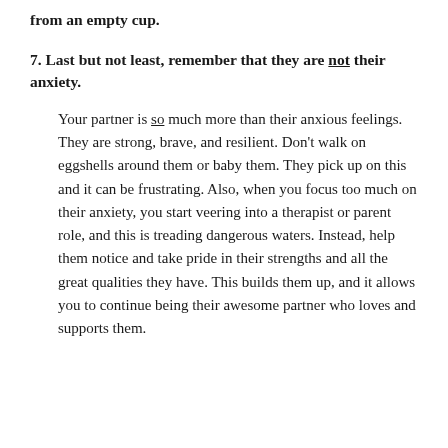from an empty cup.
7. Last but not least, remember that they are not their anxiety.
Your partner is so much more than their anxious feelings. They are strong, brave, and resilient. Don't walk on eggshells around them or baby them. They pick up on this and it can be frustrating. Also, when you focus too much on their anxiety, you start veering into a therapist or parent role, and this is treading dangerous waters. Instead, help them notice and take pride in their strengths and all the great qualities they have. This builds them up, and it allows you to continue being their awesome partner who loves and supports them.